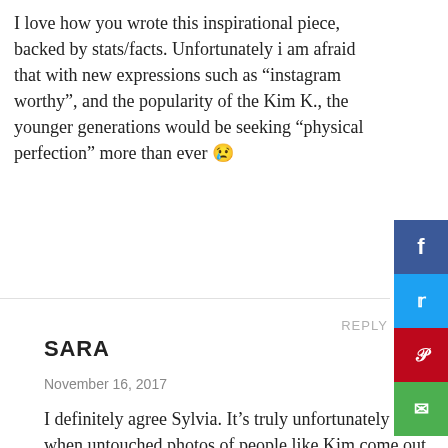I love how you wrote this inspirational piece, backed by stats/facts. Unfortunately i am afraid that with new expressions such as “instagram worthy”, and the popularity of the Kim K., the younger generations would be seeking “physical perfection” more than ever 😢
REPLY
SARA
November 16, 2017
I definitely agree Sylvia. It’s truly unfortunately that when untouched photos of people like Kim come out showing that they too have cellulite